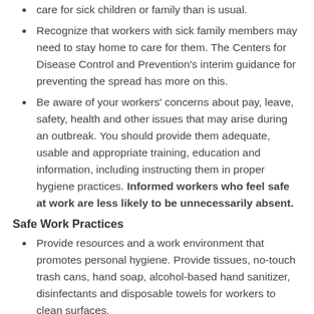care for sick children or family than is usual.
Recognize that workers with sick family members may need to stay home to care for them. The Centers for Disease Control and Prevention's interim guidance for preventing the spread has more on this.
Be aware of your workers' concerns about pay, leave, safety, health and other issues that may arise during an outbreak. You should provide them adequate, usable and appropriate training, education and information, including instructing them in proper hygiene practices. Informed workers who feel safe at work are less likely to be unnecessarily absent.
Safe Work Practices
Provide resources and a work environment that promotes personal hygiene. Provide tissues, no-touch trash cans, hand soap, alcohol-based hand sanitizer, disinfectants and disposable towels for workers to clean surfaces.
Require regular hand-washing. Workers should always